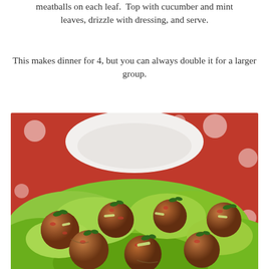meatballs on each leaf.  Top with cucumber and mint leaves, drizzle with dressing, and serve.
This makes dinner for 4, but you can always double it for a larger group.
[Figure (photo): Photo of meatballs served on butter lettuce leaves, garnished with chopped mint and cucumber strips, presented on a white plate set on a red polka-dot tablecloth.]